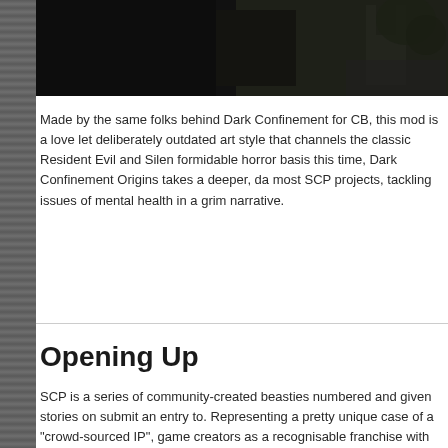[Figure (photo): Dark screenshot from a video game showing a dimly lit environment with a figure visible]
Made by the same folks behind Dark Confinement for CB, this mod is a love let deliberately outdated art style that channels the classic Resident Evil and Silen formidable horror basis this time, Dark Confinement Origins takes a deeper, da most SCP projects, tackling issues of mental health in a grim narrative.
Opening Up
SCP is a series of community-created beasties numbered and given stories on submit an entry to. Representing a pretty unique case of a "crowd-sourced IP", game creators as a recognisable franchise with very little in the way of IP owne In recent years we've seen a number of SCP indies come and go, and the next Files, an anthology-based SCP game that at Gamescom had its release date p
[Figure (photo): Dark red-toned screenshot from a video game showing a corridor with red emergency lighting, ceiling panels visible]